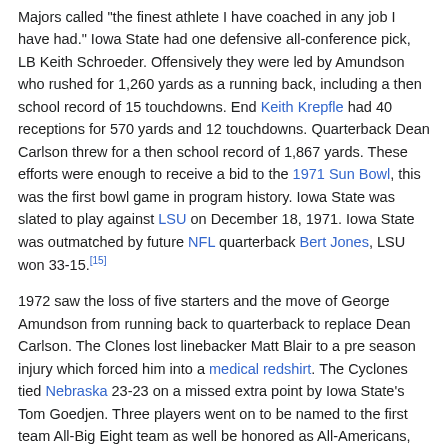Majors called "the finest athlete I have coached in any job I have had." Iowa State had one defensive all-conference pick, LB Keith Schroeder. Offensively they were led by Amundson who rushed for 1,260 yards as a running back, including a then school record of 15 touchdowns. End Keith Krepfle had 40 receptions for 570 yards and 12 touchdowns. Quarterback Dean Carlson threw for a then school record of 1,867 yards. These efforts were enough to receive a bid to the 1971 Sun Bowl, this was the first bowl game in program history. Iowa State was slated to play against LSU on December 18, 1971. Iowa State was outmatched by future NFL quarterback Bert Jones, LSU won 33-15.[15]
1972 saw the loss of five starters and the move of George Amundson from running back to quarterback to replace Dean Carlson. The Clones lost linebacker Matt Blair to a pre season injury which forced him into a medical redshirt. The Cyclones tied Nebraska 23-23 on a missed extra point by Iowa State's Tom Goedjen. Three players went on to be named to the first team All-Big Eight team as well be honored as All-Americans, offensive lineman Geary Murdoch, defensive end Merv Krakau and quarterback George Amundson. George Amundson was named Big